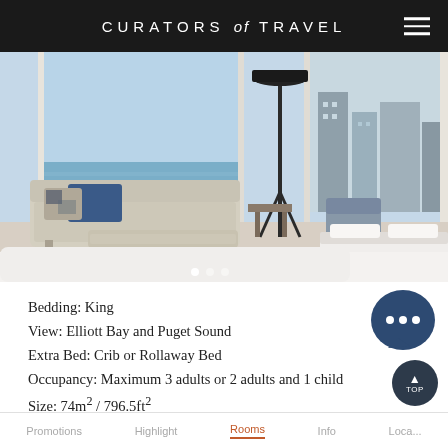CURATORS of TRAVEL
[Figure (photo): Hotel room interior with king bed, sofa with blue pillows, floor lamp, and views of Elliott Bay and city skyline through large windows]
Bedding: King
View: Elliott Bay and Puget Sound
Extra Bed: Crib or Rollaway Bed
Occupancy: Maximum 3 adults or 2 adults and 1 child
Size: 74m² / 796.5ft²
Check availability
Promotions  Highlight  Rooms  Info  Loca...